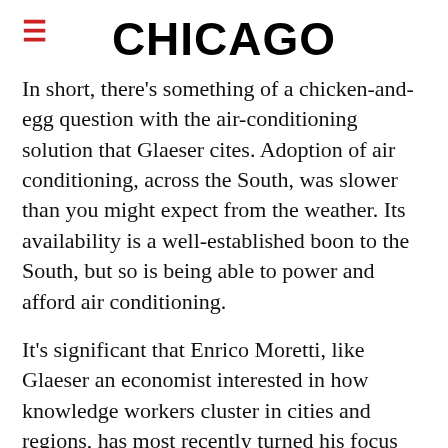CHICAGO
In short, there's something of a chicken-and-egg question with the air-conditioning solution that Glaeser cites. Adoption of air conditioning, across the South, was slower than you might expect from the weather. Its availability is a well-established boon to the South, but so is being able to power and afford air conditioning.
It's significant that Enrico Moretti, like Glaeser an economist interested in how knowledge workers cluster in cities and regions, has most recently turned his focus back to the Tennessee Valley Authority. That's a government project so ingrained in Southern culture that, as a kid, I thought that the